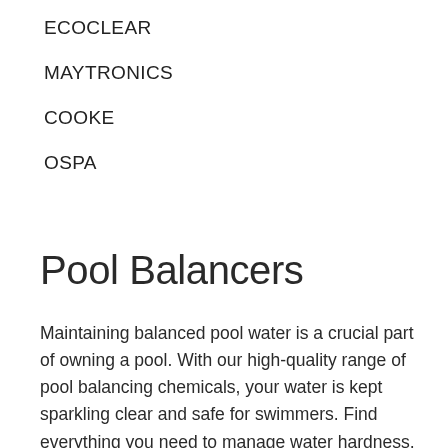ECOCLEAR
MAYTRONICS
COOKE
OSPA
Pool Balancers
Maintaining balanced pool water is a crucial part of owning a pool. With our high-quality range of pool balancing chemicals, your water is kept sparkling clear and safe for swimmers. Find everything you need to manage water hardness, balance pH levels,